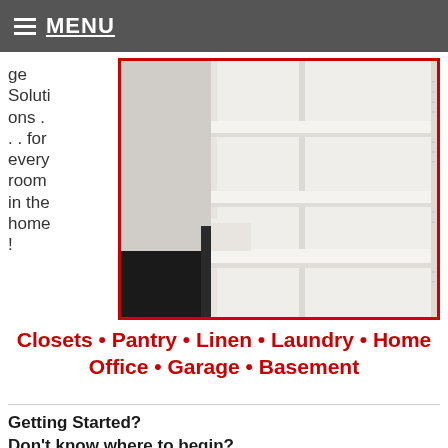MENU
Solutions . . . for every room in the home !
[Figure (photo): White shelving unit with built-in storage shelves photographed from inside, showing organized pantry or closet shelving system with white painted wood shelves and vertical supports.]
Closets • Pantry • Linen • Laundry • Home Office • Garage • Basement
Getting Started? Don't know where to begin?
Whether you are building a new home, remodeling, or reorganizing – we can help.  Planning the best use of storage